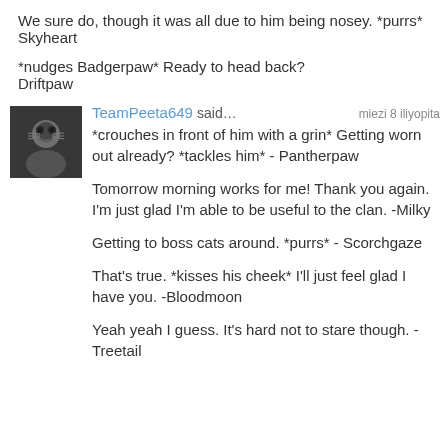We sure do, though it was all due to him being nosey. *purrs*
Skyheart
*nudges Badgerpaw* Ready to head back?
Driftpaw
TeamPeeta649 said… miezi 8 iliyopita
*crouches in front of him with a grin* Getting worn out already? *tackles him* - Pantherpaw

Tomorrow morning works for me! Thank you again. I'm just glad I'm able to be useful to the clan. -Milky

Getting to boss cats around. *purrs* - Scorchgaze

That's true. *kisses his cheek* I'll just feel glad I have you. -Bloodmoon

Yeah yeah I guess. It's hard not to stare though. -Treetail